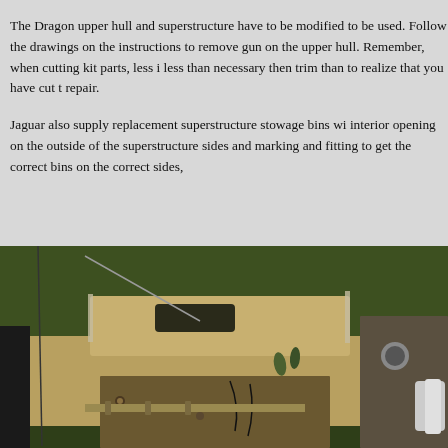The Dragon upper hull and superstructure have to be modified to be used. Follow the drawings on the instructions to remove gun on the upper hull. Remember, when cutting kit parts, less is less than necessary then trim than to realize that you have cut t repair.
Jaguar also supply replacement superstructure stowage bins wi interior opening on the outside of the superstructure sides and marking and fitting to get the correct bins on the correct sides,
[Figure (photo): Close-up photo of a scale model tank hull/superstructure assembly showing metal parts, internal components, wiring, and modeling work in progress on a green grass background.]